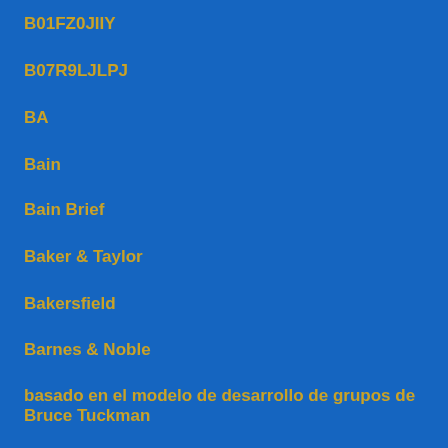B01FZ0JIIY
B07R9LJLPJ
BA
Bain
Bain Brief
Baker & Taylor
Bakersfield
Barnes & Noble
basado en el modelo de desarrollo de grupos de Bruce Tuckman